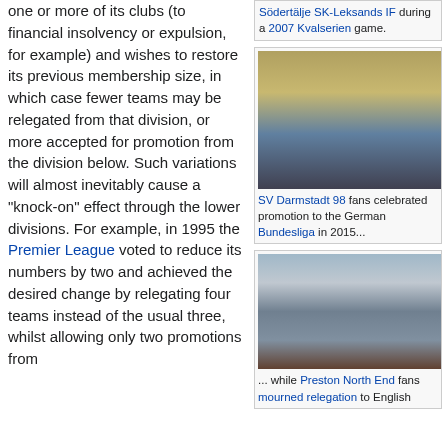one or more of its clubs (to financial insolvency or expulsion, for example) and wishes to restore its previous membership size, in which case fewer teams may be relegated from that division, or more accepted for promotion from the division below. Such variations will almost inevitably cause a "knock-on" effect through the lower divisions. For example, in 1995 the Premier League voted to reduce its numbers by two and achieved the desired change by relegating four teams instead of the usual three, whilst allowing only two promotions from
Södertälje SK-Leksands IF during a 2007 Kvalserien game.
[Figure (photo): Crowd scene at a hockey match between Södertälje SK and Leksands IF during a 2007 Kvalserien game]
SV Darmstadt 98 fans celebrated promotion to the German Bundesliga in 2015...
[Figure (photo): SV Darmstadt 98 fans celebrating promotion to the German Bundesliga in 2015]
[Figure (photo): Preston North End fans mourned relegation to English]
... while Preston North End fans mourned relegation to English